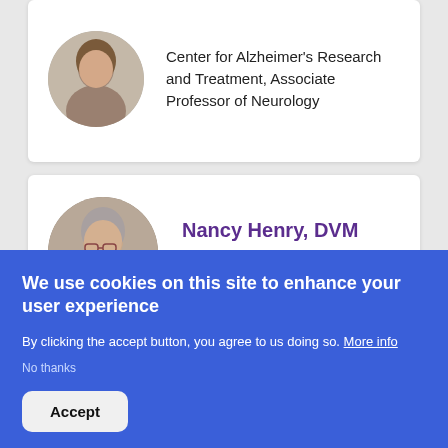Center for Alzheimer's Research and Treatment, Associate Professor of Neurology
[Figure (photo): Circular profile photo of a woman with brown curly hair]
Nancy Henry, DVM
Instructor
Anatomy
[Figure (photo): Circular profile photo of Nancy Henry, woman with gray hair and glasses]
We use cookies on this site to enhance your user experience
By clicking the accept button, you agree to us doing so. More info
No thanks
Accept